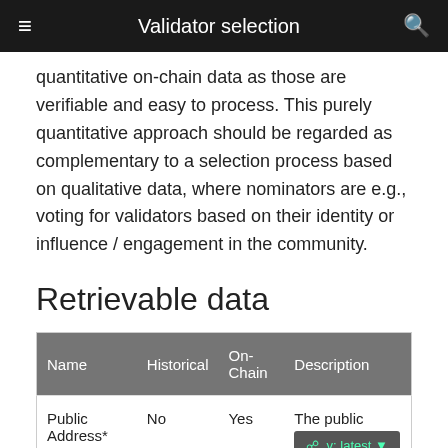Validator selection
quantitative on-chain data as those are verifiable and easy to process. This purely quantitative approach should be regarded as complementary to a selection process based on qualitative data, where nominators are e.g., voting for validators based on their identity or influence / engagement in the community.
Retrievable data
| Name | Historical | On-Chain | Description |
| --- | --- | --- | --- |
| Public Address* | No | Yes | The public ... the validator. |
| Identity* | No | Yes | ... |